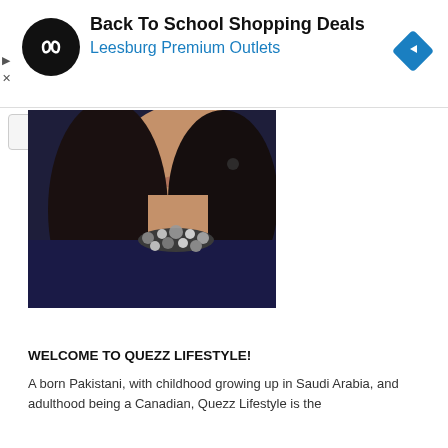[Figure (infographic): Advertisement banner: black circular logo with infinity-like symbol, text 'Back To School Shopping Deals' in bold black and 'Leesburg Premium Outlets' in blue, blue diamond navigation icon on right. Small play and X controls on left below banner.]
[Figure (photo): Photo of a woman from chin to chest, wearing a dark navy top and a chunky pearl and dark bead necklace, with long dark hair. Image is cropped showing lower face and neck/shoulders.]
WELCOME TO QUEZZ LIFESTYLE!
A born Pakistani, with childhood growing up in Saudi Arabia, and adulthood being a Canadian, Quezz Lifestyle is the